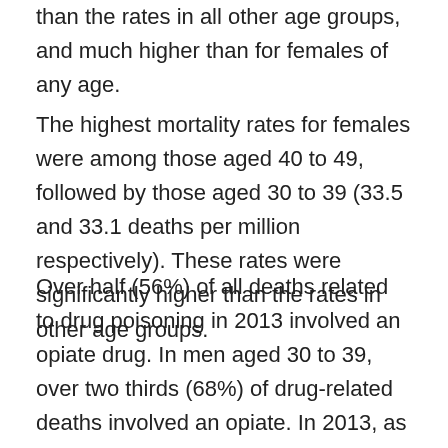than the rates in all other age groups, and much higher than for females of any age.
The highest mortality rates for females were among those aged 40 to 49, followed by those aged 30 to 39 (33.5 and 33.1 deaths per million respectively). These rates were significantly higher than the rates in other age groups.
Over half (56%) of all deaths related to drug poisoning in 2013 involved an opiate drug. In men aged 30 to 39, over two thirds (68%) of drug-related deaths involved an opiate. In 2013, as in previous years, the most commonly mentioned opiates were heroin and/or morphine, which were involved in 765 deaths.